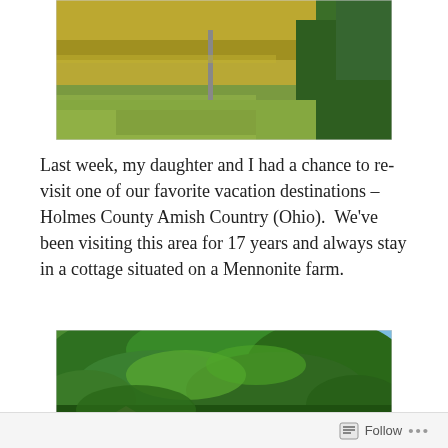[Figure (photo): Outdoor farm scene showing a large green lawn in the foreground, tall golden corn stalks in the background, and trees on the right side.]
Last week, my daughter and I had a chance to re-visit one of our favorite vacation destinations – Holmes County Amish Country (Ohio).  We've been visiting this area for 17 years and always stay in a cottage situated on a Mennonite farm.
[Figure (photo): Dense green trees and foliage with blue sky visible through branches; a small cottage or structure is partially visible at the bottom left.]
Follow